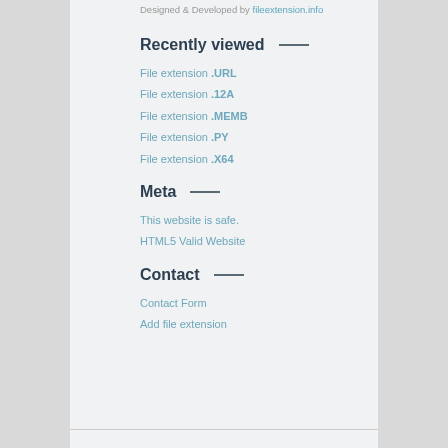Designed & Developed by fileextension.info
Recently viewed
File extension .URL
File extension .12A
File extension .MEMB
File extension .PY
File extension .X64
Meta
This website is safe.
HTML5 Valid Website
Contact
Contact Form
Add file extension